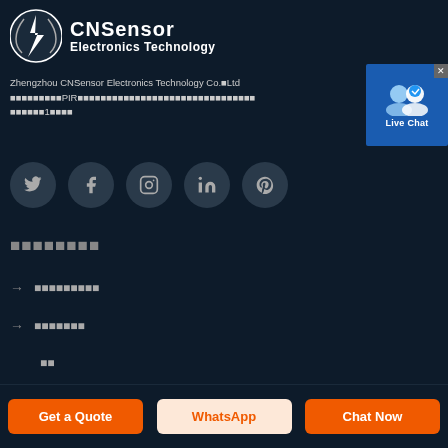CNSensor Electronics Technology
Zhengzhou CNSensor Electronics Technology Co. Ltd          PIR                                       1    
[Figure (logo): CNSensor logo with lightning bolt icon]
[Figure (other): Live Chat popup button]
[Figure (other): Social media icons row: Twitter, Facebook, Instagram, LinkedIn, Pinterest]
        
→          
→        
  
Get a Quote | WhatsApp | Chat Now